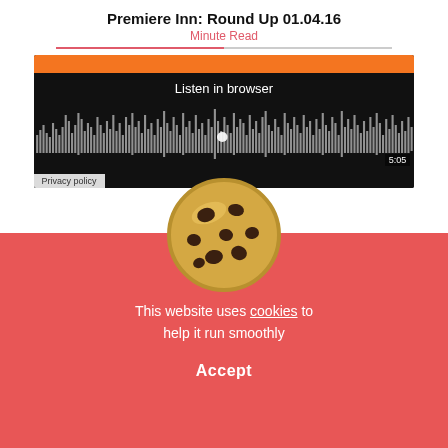Premiere Inn: Round Up 01.04.16
Minute Read
[Figure (screenshot): Audio player widget with orange bar at top, 'Listen in browser' text, waveform visualization, timestamp 5:05, and Privacy policy label]
[Figure (illustration): Cookie consent overlay with chocolate chip cookie image, text 'This website uses cookies to help it run smoothly', and Accept button on red/coral background]